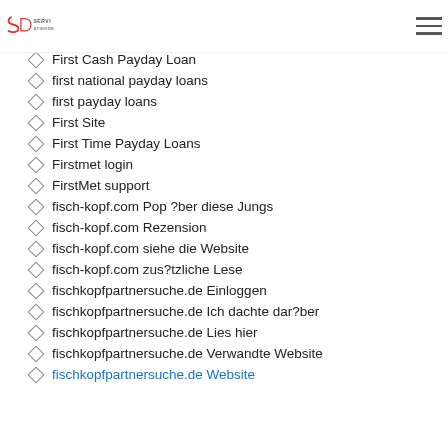Serviatiende logo and hamburger menu
Affair seiten
First Cash Payday Loan
first national payday loans
first payday loans
First Site
First Time Payday Loans
Firstmet login
FirstMet support
fisch-kopf.com Pop ?ber diese Jungs
fisch-kopf.com Rezension
fisch-kopf.com siehe die Website
fisch-kopf.com zus?tzliche Lese
fischkopfpartnersuche.de Einloggen
fischkopfpartnersuche.de Ich dachte dar?ber
fischkopfpartnersuche.de Lies hier
fischkopfpartnersuche.de Verwandte Website
fischkopfpartnersuche.de Website